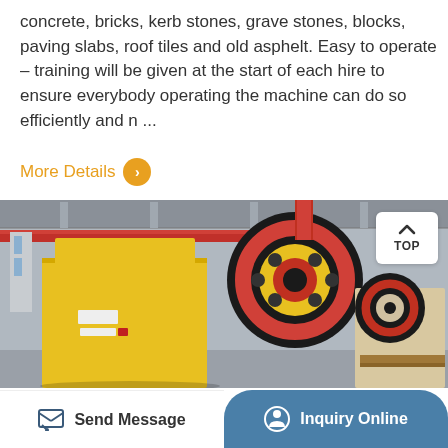concrete, bricks, kerb stones, grave stones, blocks, paving slabs, roof tiles and old asphelt. Easy to operate – training will be given at the start of each hire to ensure everybody operating the machine can do so efficiently and n ...
More Details >
[Figure (photo): Industrial jaw crusher machines in a factory setting — large yellow machinery with red flywheels in the foreground and background in a warehouse.]
TOP
Send Message
Inquiry Online